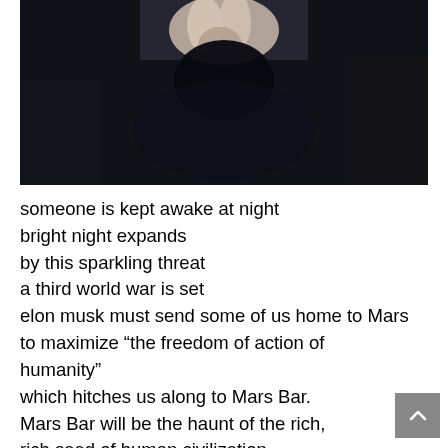[Figure (photo): Dark photograph showing a close-up of hands or fingers against a very dark background, with some light-colored area visible at top center.]
someone is kept awake at night
bright night expands
by this sparkling threat
a third world war is set
elon musk must send some of us home to Mars
to maximize “the freedom of action of humanity”
which hitches us along to Mars Bar.
Mars Bar will be the haunt of the rich,
rich seed of human civilization
shortening the length of the dark ages
so musk says,